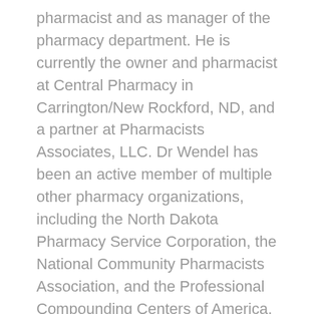pharmacist and as manager of the pharmacy department. He is currently the owner and pharmacist at Central Pharmacy in Carrington/New Rockford, ND, and a partner at Pharmacists Associates, LLC. Dr Wendel has been an active member of multiple other pharmacy organizations, including the North Dakota Pharmacy Service Corporation, the National Community Pharmacists Association, and the Professional Compounding Centers of America. He is also a past president and board member of the North Dakota Pharmacists Association. Dr Wendel earned his bachelor of science degree in pharmacy and doctor of pharmacy degree from North Dakota State University.